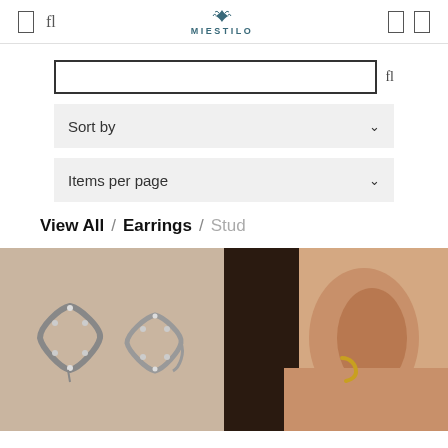MIESTILO
Sort by
Items per page
View All / Earrings / Stud
[Figure (photo): Two silver chain-link hoop earrings on a beige stone background]
[Figure (photo): Close-up of a woman's ear wearing a small gold hoop earring, dark hair visible]